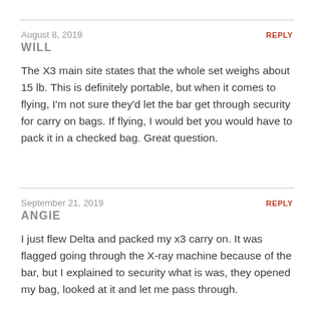August 8, 2019
REPLY
WILL
The X3 main site states that the whole set weighs about 15 lb. This is definitely portable, but when it comes to flying, I'm not sure they'd let the bar get through security for carry on bags. If flying, I would bet you would have to pack it in a checked bag. Great question.
September 21, 2019
REPLY
ANGIE
I just flew Delta and packed my x3 carry on. It was flagged going through the X-ray machine because of the bar, but I explained to security what is was, they opened my bag, looked at it and let me pass through.